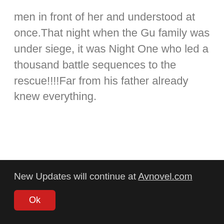men in front of her and understood at once.That night when the Gu family was under siege, it was Night One who led a thousand battle sequences to the rescue!!!!Far from his father already knew everything.
New Updates will continue at Avnovel.com